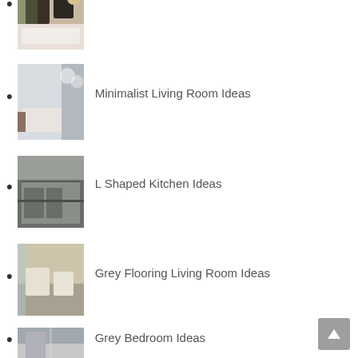(partial item at top — bedroom image, cut off)
[Figure (photo): Bedroom interior photo with white fur blanket and black/white pillows, partially visible at top]
Minimalist Living Room Ideas
[Figure (photo): Minimalist living room with pendant lights, white sofa, and large windows]
L Shaped Kitchen Ideas
[Figure (photo): L-shaped kitchen with grey cabinetry and dark countertops]
Grey Flooring Living Room Ideas
[Figure (photo): Living room with grey flooring, beige chairs, and city window view]
Grey Bedroom Ideas
[Figure (photo): Grey bedroom interior partially visible at bottom]